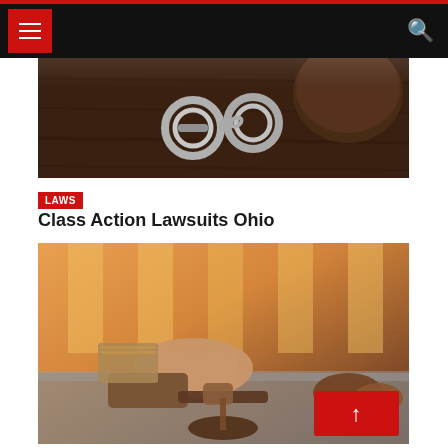Navigation bar with hamburger menu and search icon
[Figure (photo): Close-up photo of handcuffs and gavel on a dark wooden surface]
LAWS
Class Action Lawsuits Ohio
[Figure (photo): Photo of lawyers or legal professionals meeting around a table with a gavel in the foreground, warm golden light from windows in background]